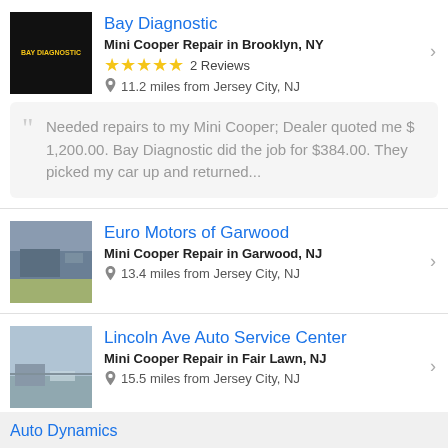Bay Diagnostic
Mini Cooper Repair in Brooklyn, NY
★★★★★ 2 Reviews
11.2 miles from Jersey City, NJ
Needed repairs to my Mini Cooper; Dealer quoted me $ 1,200.00. Bay Diagnostic did the job for $384.00. They picked my car up and returned...
Euro Motors of Garwood
Mini Cooper Repair in Garwood, NJ
13.4 miles from Jersey City, NJ
Lincoln Ave Auto Service Center
Mini Cooper Repair in Fair Lawn, NJ
15.5 miles from Jersey City, NJ
Auto Dynamics